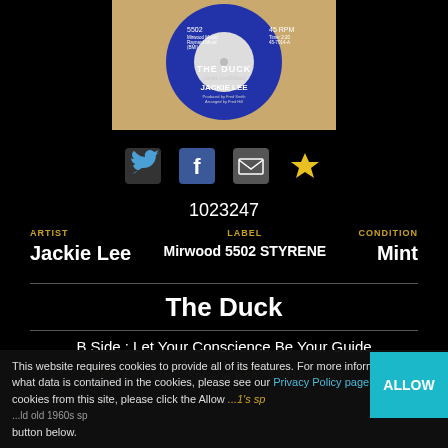[Figure (photo): A blue vinyl 45 RPM record labeled 'THE DUCK' by JACKIE LEE on Mirwood 5502, catalog number 45-7014-A, Time 2:20, with tan/kraft paper sleeve visible behind it.]
[Figure (infographic): Row of social media icons: Twitter bird (blue), Facebook f (blue/white), envelope/email (white), and gold star/favorite icon.]
1023247
ARTIST
Jackie Lee
LABEL
Mirwood 5502 STYRENE
CONDITION
Mint
The Duck
B Side : Let Your Conscience Be Your Guide
Mint Mint Mint...Styrene with ^59032 matrix...
This website requires cookies to provide all of its features. For more information on what data is contained in the cookies, please see our Privacy Policy page. To accept cookies from this site, please click the Allow button below.